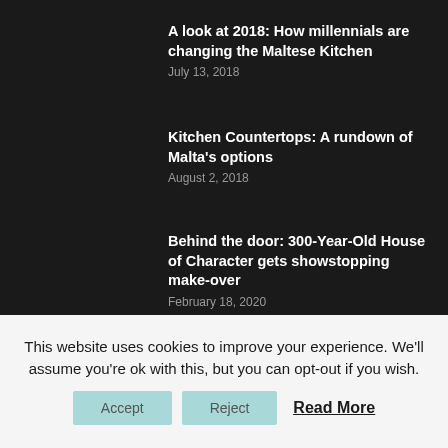A look at 2018: How millennials are changing the Maltese Kitchen
July 13, 2018
Kitchen Countertops: A rundown of Malta's options
August 2, 2018
Behind the door: 300-Year-Old House of Character gets showstopping make-over
February 18, 2020
This website uses cookies to improve your experience. We'll assume you're ok with this, but you can opt-out if you wish.
Accept
Reject
Read More